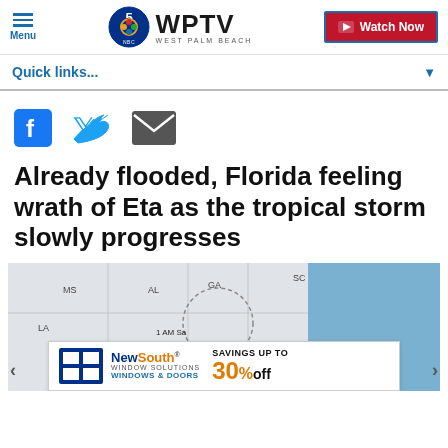Menu | WPTV WEST PALM BEACH | Watch Now
Quick links...
[Figure (screenshot): Social media sharing icons: Facebook, Twitter, Email]
Already flooded, Florida feeling wrath of Eta as the tropical storm slowly progresses
[Figure (map): Weather map showing tropical storm Eta track over southeastern United States with NewSouth Window Solutions advertisement overlay showing savings up to 30% off windows and doors]